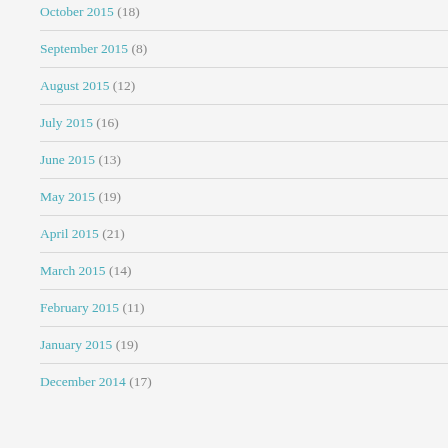October 2015 (18)
September 2015 (8)
August 2015 (12)
July 2015 (16)
June 2015 (13)
May 2015 (19)
April 2015 (21)
March 2015 (14)
February 2015 (11)
January 2015 (19)
December 2014 (17)